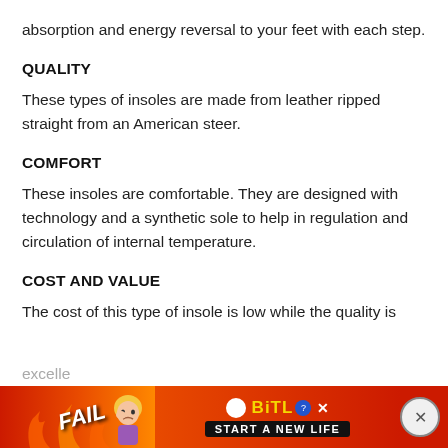absorption and energy reversal to your feet with each step.
QUALITY
These types of insoles are made from leather ripped straight from an American steer.
COMFORT
These insoles are comfortable. They are designed with technology and a synthetic sole to help in regulation and circulation of internal temperature.
COST AND VALUE
The cost of this type of insole is low while the quality is excelle
[Figure (other): Advertisement banner for BitLife game showing FAIL text, animated character, BitLife logo and START A NEW LIFE text on red/orange fire background]